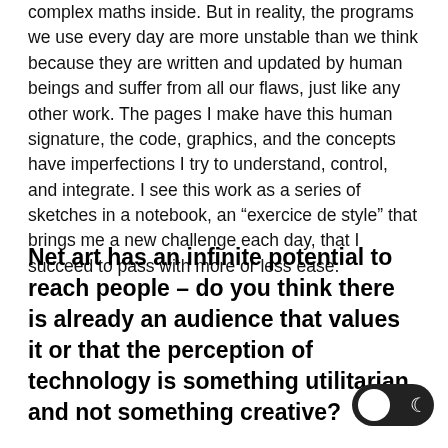complex maths inside. But in reality, the programs we use every day are more unstable than we think because they are written and updated by human beings and suffer from all our flaws, just like any other work. The pages I make have this human signature, the code, graphics, and the concepts have imperfections I try to understand, control, and integrate. I see this work as a series of sketches in a notebook, an “exercice de style” that brings me a new challenge each day, that I succeed to pass with more or less ease.
Net art has an infinite potential to reach people – do you think there is already an audience that values it or that the perception of technology is something utilitarian and not something creative?